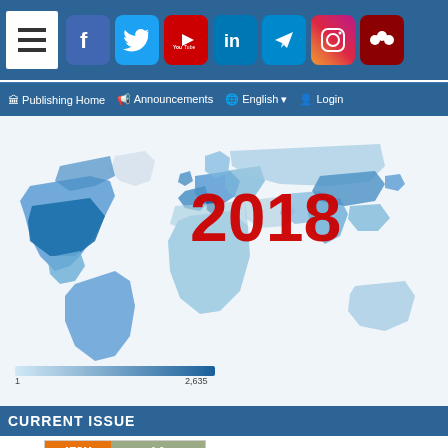Social media icons header bar: Facebook, Twitter, YouTube, LinkedIn, Telegram, Instagram, Mendeley
Publishing Home | Announcements | English | Login
[Figure (map): World map choropleth showing 2018 data with countries shaded in varying intensities of blue. A legend bar at the bottom shows range from 1 to 2,635. Italy appears highlighted with a marker. The year '2018' is displayed in large red text overlaid on the map.]
CURRENT ISSUE
ATOM 1.0
RSS 2.0
RSS 1.0